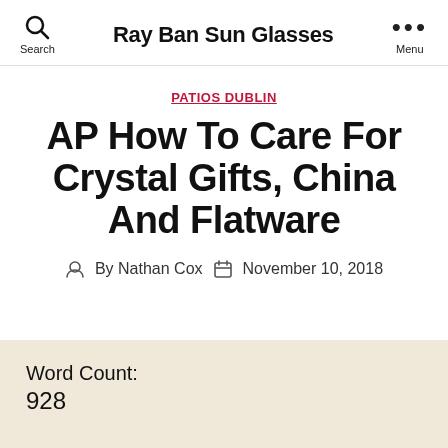Ray Ban Sun Glasses
PATIOS DUBLIN
AP How To Care For Crystal Gifts, China And Flatware
By Nathan Cox  November 10, 2018
Word Count:
928